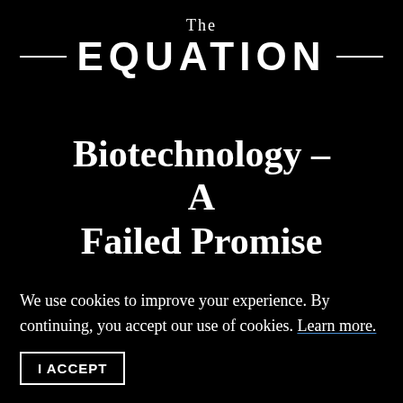The EQUATION
Biotechnology – A Failed Promise
August 25, 2011 | 4:03 pm
[Figure (illustration): Author avatar placeholder icon showing a generic person silhouette]
Margaret Mello
We use cookies to improve your experience. By continuing, you accept our use of cookies. Learn more.
I ACCEPT